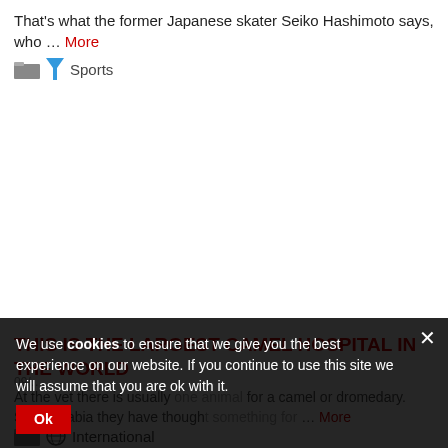That's what the former Japanese skater Seiko Hashimoto says, who … More
🏅 Sports
THIS IS THE LARGEST CAMEL HOSPITAL IN THE WORLD
09/…
At the vet there is usually one animal for a camel or dromedary. Saudi Arabia they have thought something for … More
🌐 International
We use cookies to ensure that we give you the best experience on our website. If you continue to use this site we will assume that you are ok with it.
Ok